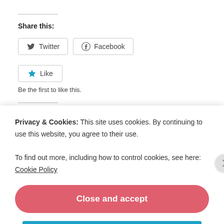Share this:
Twitter  Facebook
Like  Be the first to like this.
Related
Rocky Top: A Tribute to Pat Summitt (Yes, Seriously.)
we hold these truths to be self-evident
Privacy & Cookies: This site uses cookies. By continuing to use this website, you agree to their use.
To find out more, including how to control cookies, see here: Cookie Policy
Close and accept